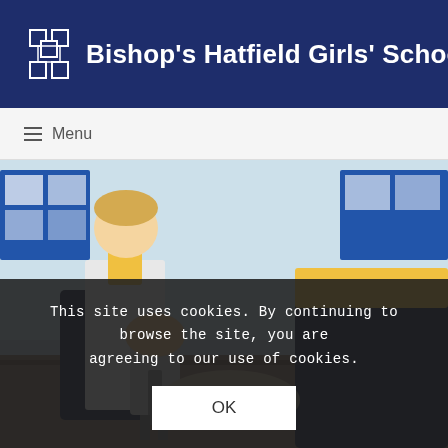Bishop's Hatfield Girls' School
≡ Menu
[Figure (photo): School student in white apron using a hand mixer in a kitchen/food technology classroom, wearing navy school uniform with yellow collar. Another student in yellow is visible in the background.]
This site uses cookies. By continuing to browse the site, you are agreeing to our use of cookies.
OK